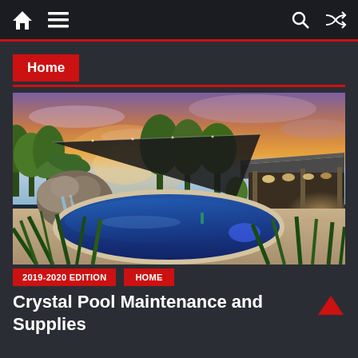Navigation bar with home icon, menu icon, search icon, shuffle icon
Home
[Figure (photo): Outdoor swimming pool at sunset with a waterfall rock feature on the left, a large black shade sail overhead, tropical trees, a modern house/pavilion with warm lights on the right, and lush green plants in the foreground]
2019-2020 EDITION
HOME
Crystal Pool Maintenance and Supplies